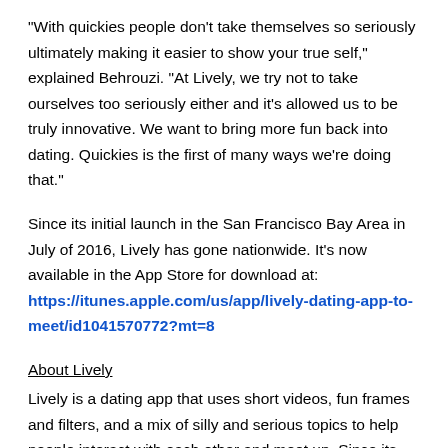"With quickies people don't take themselves so seriously ultimately making it easier to show your true self," explained Behrouzi. "At Lively, we try not to take ourselves too seriously either and it's allowed us to be truly innovative. We want to bring more fun back into dating. Quickies is the first of many ways we're doing that."
Since its initial launch in the San Francisco Bay Area in July of 2016, Lively has gone nationwide. It's now available in the App Store for download at: https://itunes.apple.com/us/app/lively-dating-app-to-meet/id1041570772?mt=8
About Lively
Lively is a dating app that uses short videos, fun frames and filters, and a mix of silly and serious topics to help people interact with each other and meet up. Since its launch in July of 2016, Lively has gone beyond static images and text, to help daters get to know each other through creative videos that help them share more about themselves. Lively is the first offering from Zoosk Labs, an in-house incubator that signals the company's commitment to innovation and expansion into new areas and